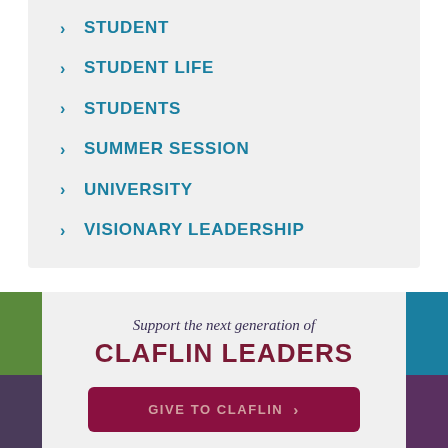STUDENT
STUDENT LIFE
STUDENTS
SUMMER SESSION
UNIVERSITY
VISIONARY LEADERSHIP
Support the next generation of
CLAFLIN LEADERS
GIVE TO CLAFLIN